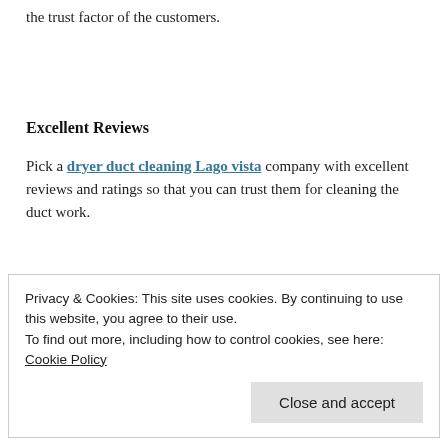the trust factor of the customers.
Excellent Reviews
Pick a dryer duct cleaning Lago vista company with excellent reviews and ratings so that you can trust them for cleaning the duct work.
Privacy & Cookies: This site uses cookies. By continuing to use this website, you agree to their use.
To find out more, including how to control cookies, see here: Cookie Policy
Close and accept